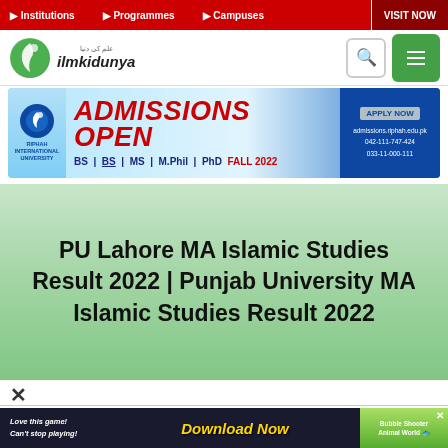Institutions | Programmes | Campuses | VISIT NOW
[Figure (logo): ilmkidunya website logo with green crescent icon]
[Figure (infographic): Riphah International University Admissions Open banner - BS, MS, M.Phil, PhD Fall 2022 - admissions.riphah.edu.pk - 042-111-747-424 - 033-11-000-111]
PU Lahore MA Islamic Studies Result 2022 | Punjab University MA Islamic Studies Result 2022
[Figure (infographic): Game advertisement - Love this game! Can't stop playing! Download Now - Bubble Shooter Animal World]